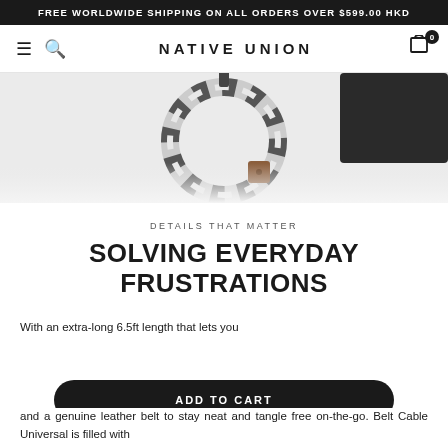FREE WORLDWIDE SHIPPING ON ALL ORDERS OVER $599.00 HKD
NATIVE UNION
[Figure (photo): Overhead photo of a braided black-and-white cable coiled on a white surface with a brown leather cable tie, next to a black smartphone]
DETAILS THAT MATTER
SOLVING EVERYDAY FRUSTRATIONS
With an extra-long 6.5ft length that lets you
and a genuine leather belt to stay neat and tangle free on-the-go. Belt Cable Universal is filled with
[Figure (other): ADD TO CART button — black rounded rectangle with white text]